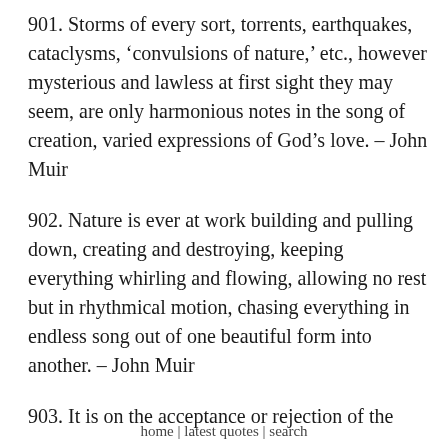901. Storms of every sort, torrents, earthquakes, cataclysms, ‘convulsions of nature,’ etc., however mysterious and lawless at first sight they may seem, are only harmonious notes in the song of creation, varied expressions of God’s love. – John Muir
902. Nature is ever at work building and pulling down, creating and destroying, keeping everything whirling and flowing, allowing no rest but in rhythmical motion, chasing everything in endless song out of one beautiful form into another. – John Muir
903. It is on the acceptance or rejection of the
home | latest quotes | search